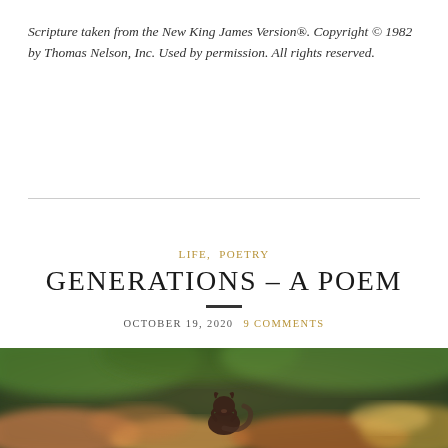Scripture taken from the New King James Version®. Copyright © 1982 by Thomas Nelson, Inc. Used by permission. All rights reserved.
LIFE, POETRY
GENERATIONS – A POEM
OCTOBER 19, 2020  9 COMMENTS
[Figure (photo): A squirrel photographed from below against a blurred background of autumn leaves and green foliage.]